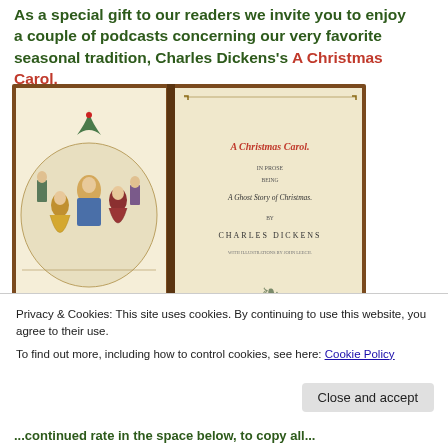As a special gift to our readers we invite you to enjoy a couple of podcasts concerning our very favorite seasonal tradition, Charles Dickens's A Christmas Carol.
[Figure (photo): Open book showing A Christmas Carol by Charles Dickens — left page has a colored illustration of Victorian figures dancing/celebrating; right page is the title page reading 'A CHRISTMAS CAROL, IN PROSE, BEING A Ghost Story of Christmas, BY CHARLES DICKENS, WITH ILLUSTRATIONS BY JOHN LEECH, LONDON']
Privacy & Cookies: This site uses cookies. By continuing to use this website, you agree to their use.
To find out more, including how to control cookies, see here: Cookie Policy
Close and accept
...continued text in the space below, to copy all...